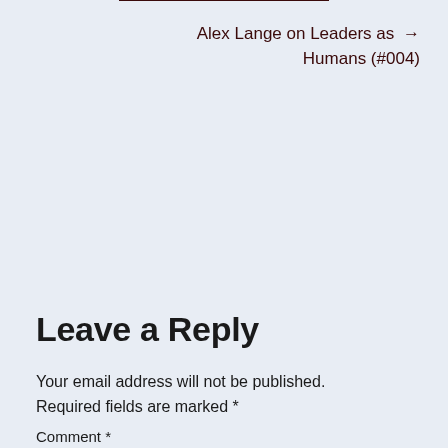Alex Lange on Leaders as → Humans (#004)
Leave a Reply
Your email address will not be published. Required fields are marked *
Comment *